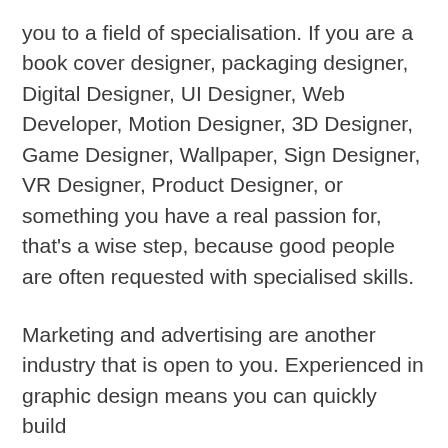you to a field of specialisation. If you are a book cover designer, packaging designer, Digital Designer, UI Designer, Web Developer, Motion Designer, 3D Designer, Game Designer, Wallpaper, Sign Designer, VR Designer, Product Designer, or something you have a real passion for, that's a wise step, because good people are often requested with specialised skills.
Marketing and advertising are another industry that is open to you. Experienced in graphic design means you can quickly build